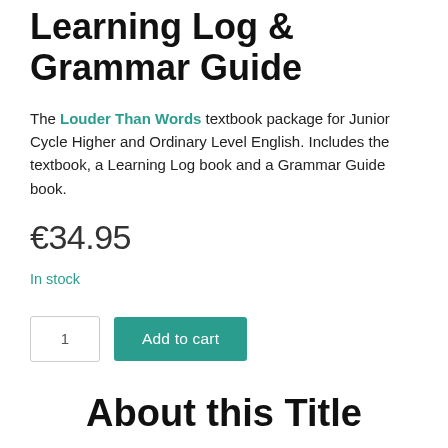Learning Log & Grammar Guide
The Louder Than Words textbook package for Junior Cycle Higher and Ordinary Level English. Includes the textbook, a Learning Log book and a Grammar Guide book.
€34.95
In stock
About this Title